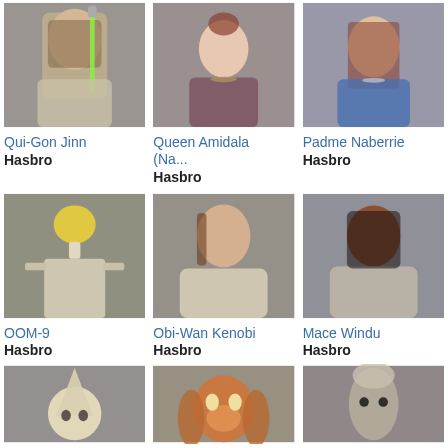[Figure (photo): Qui-Gon Jinn action figure with green lightsaber]
Qui-Gon Jinn
Hasbro
[Figure (photo): Queen Amidala action figure in purple outfit]
Queen Amidala (Na...
Hasbro
[Figure (photo): Padme Naberrie action figure in blue outfit]
Padme Naberrie
Hasbro
[Figure (photo): OOM-9 battle droid action figure]
OOM-9
Hasbro
[Figure (photo): Obi-Wan Kenobi action figure in Jedi robes]
Obi-Wan Kenobi
Hasbro
[Figure (photo): Mace Windu action figure in Jedi robes]
Mace Windu
Hasbro
[Figure (photo): Unknown Star Wars action figure with cone-shaped head]
[Figure (photo): Jar Jar Binks action figure]
[Figure (photo): Unknown Star Wars alien action figure]